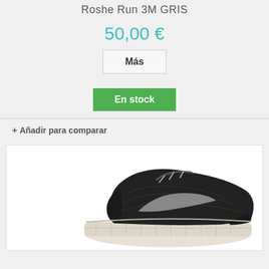Roshe Run 3M GRIS
50,00 €
Más
En stock
+ Añadir para comparar
[Figure (photo): Nike Roshe Run 3M GRIS sneaker — black mesh upper with grey swoosh logo and white/cream chunky sole, photographed from a slightly elevated angle on a white background]